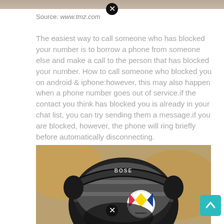[Figure (photo): Top strip of a partially visible photo (cropped at top edge)]
Source: www.tmz.com
The easiest way to call someone who has blocked your number is to borrow a phone from someone else and make a call to the person that has blocked your number. How to call someone who blocked you on android & iphone:however, this may also happen when a phone number goes out of service.if the contact you think has blocked you is already in your chat list, you can try sending them a message.if you are blocked, however, the phone will ring briefly before automatically disconnecting.
[Figure (photo): Photo of a person wearing a Pittsburgh Steelers helmet with Bose headphones and knit cap]